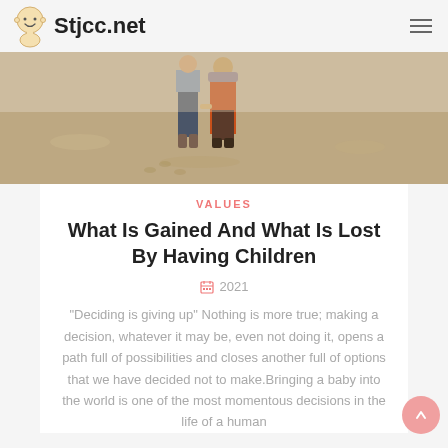Stjcc.net
[Figure (photo): Two people walking on a sandy beach, one in jeans and boots, the other in an orange jacket]
VALUES
What Is Gained And What Is Lost By Having Children
2021
"Deciding is giving up" Nothing is more true; making a decision, whatever it may be, even not doing it, opens a path full of possibilities and closes another full of options that we have decided not to make.Bringing a baby into the world is one of the most momentous decisions in the life of a human